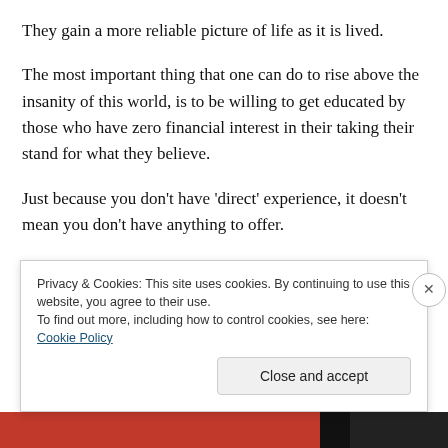They gain a more reliable picture of life as it is lived.
The most important thing that one can do to rise above the insanity of this world, is to be willing to get educated by those who have zero financial interest in their taking their stand for what they believe.
Just because you don’t have ‘direct’ experience, it doesn’t mean you don’t have anything to offer.
It’s been said that information is power. Without a means of distributing information, people cannot harness its
Privacy & Cookies: This site uses cookies. By continuing to use this website, you agree to their use.
To find out more, including how to control cookies, see here: Cookie Policy
Close and accept